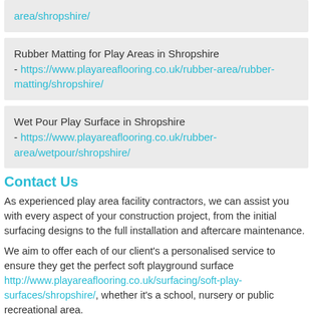area/shropshire/
Rubber Matting for Play Areas in Shropshire - https://www.playareaflooring.co.uk/rubber-area/rubber-matting/shropshire/
Wet Pour Play Surface in Shropshire - https://www.playareaflooring.co.uk/rubber-area/wetpour/shropshire/
Contact Us
As experienced play area facility contractors, we can assist you with every aspect of your construction project, from the initial surfacing designs to the full installation and aftercare maintenance.
We aim to offer each of our client's a personalised service to ensure they get the perfect soft playground surface http://www.playareaflooring.co.uk/surfacing/soft-play-surfaces/shropshire/, whether it's a school, nursery or public recreational area.